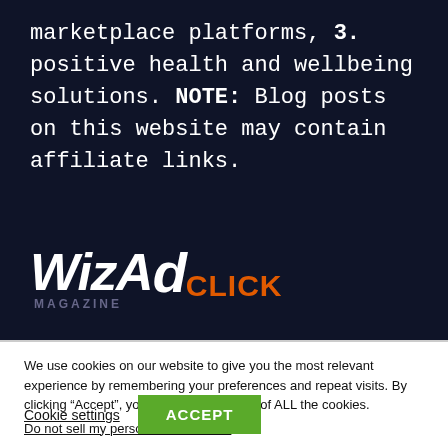marketplace platforms, 3. positive health and wellbeing solutions. NOTE: Blog posts on this website may contain affiliate links.
[Figure (logo): WizAd Click Magazine logo — bold white italic text 'WizAd' with orange 'CLICK' and grey 'MAGAZINE' subtitle]
We use cookies on our website to give you the most relevant experience by remembering your preferences and repeat visits. By clicking "Accept", you consent to the use of ALL the cookies. Do not sell my personal information.
Cookie settings
ACCEPT